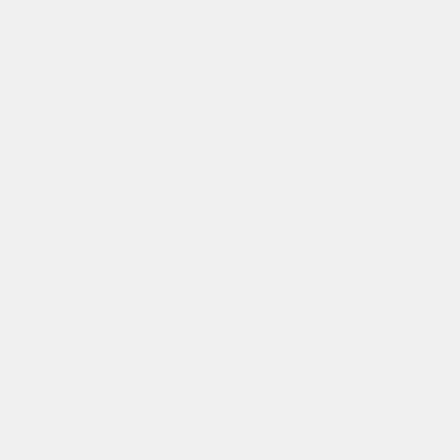("PrimaryImage") && item_relatednews.GetFiles("PrimaryImage").Count > 0) {
                    if(item_relatednews.GetFiles("PrimaryImage")[0].ContentType.StartsWith("image/")) {
                            if(!item_relatednews.IsDBNull("Link")) {
                                    <a href="@item_relatednews["Link"]" target="_blank">
                                            <img src="@(item_relatednews.GetFiles("PrimaryImage")[0].Url)?width=120&height=120&mode=crop" class="mr-3 img-fluid" alt="@(String.IsNullOrEmpty(item_relatednews.GetFiles("PrimaryImage")[0].Title) ? item_relatednews.GetFiles("PrimaryImage")[0].Filename : item_relatednews.GetFiles("PrimaryImage")[0].Title)"/>
                                    </a>
                            } else {
                                    <a href="/article/@item_relatednews.Href">
                                            <img src="@(ite